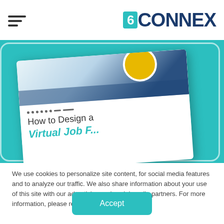6Connex
[Figure (screenshot): Hero image showing a brochure titled 'How to Design a Virtual Job F...' displayed on a phone/tablet device against a teal background]
We use cookies to personalize site content, for social media features and to analyze our traffic. We also share information about your use of this site with our advertising and social media partners. For more information, please read our Privacy Policy.
Accept